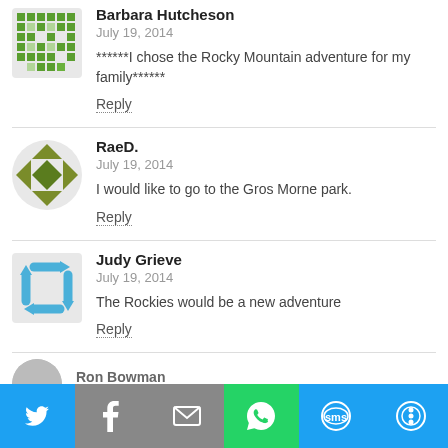[Figure (illustration): Green mosaic/geometric avatar for Barbara Hutcheson]
Barbara Hutcheson
July 19, 2014
******I chose the Rocky Mountain adventure for my family******
Reply
[Figure (illustration): Olive/green geometric diamond pattern avatar for RaeD.]
RaeD.
July 19, 2014
I would like to go to the Gros Morne park.
Reply
[Figure (illustration): Blue rotating square/arrow icon avatar for Judy Grieve]
Judy Grieve
July 19, 2014
The Rockies would be a new adventure
Reply
Ron Bowman
[Figure (infographic): Social share bar with Twitter, Facebook, Email, WhatsApp, SMS, and More buttons]